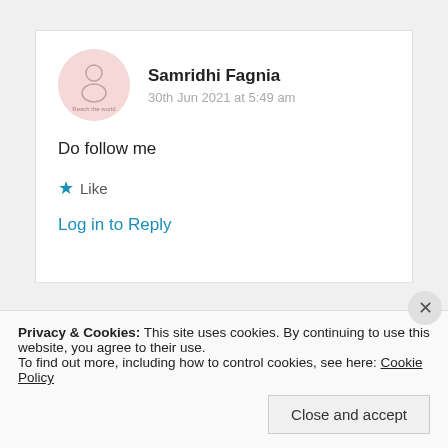Samridhi Fagnia
30th Jun 2021 at 5:49 am
Do follow me
Like
Log in to Reply
Privacy & Cookies: This site uses cookies. By continuing to use this website, you agree to their use.
To find out more, including how to control cookies, see here: Cookie Policy
Close and accept